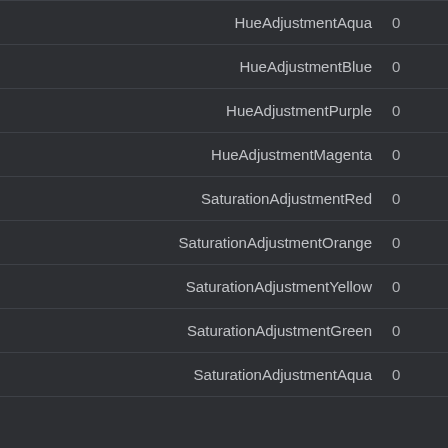| Name | Value |
| --- | --- |
| HueAdjustmentAqua | 0 |
| HueAdjustmentBlue | 0 |
| HueAdjustmentPurple | 0 |
| HueAdjustmentMagenta | 0 |
| SaturationAdjustmentRed | 0 |
| SaturationAdjustmentOrange | 0 |
| SaturationAdjustmentYellow | 0 |
| SaturationAdjustmentGreen | 0 |
| SaturationAdjustmentAqua | 0 |